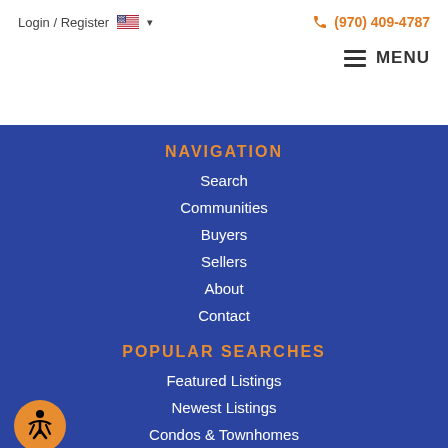Login / Register  🇺🇸 ▾          (970) 409-4787
≡ MENU
NAVIGATION
Search
Communities
Buyers
Sellers
About
Contact
POPULAR SEARCHES
Featured Listings
Newest Listings
Condos & Townhomes